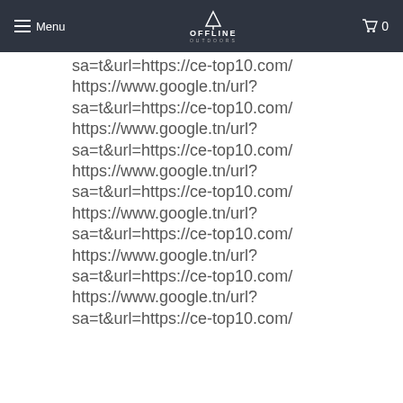Menu | OFFLINE OUTDOORS | 0
sa=t&url=https://ce-top10.com/ https://www.google.tn/url? sa=t&url=https://ce-top10.com/ https://www.google.tn/url? sa=t&url=https://ce-top10.com/ https://www.google.tn/url? sa=t&url=https://ce-top10.com/ https://www.google.tn/url? sa=t&url=https://ce-top10.com/ https://www.google.tn/url? sa=t&url=https://ce-top10.com/ https://www.google.tn/url? sa=t&url=https://ce-top10.com/